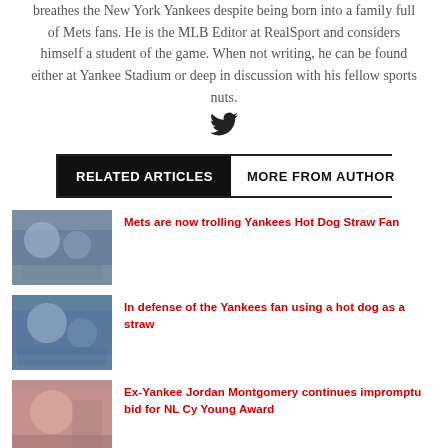breathes the New York Yankees despite being born into a family full of Mets fans. He is the MLB Editor at RealSport and considers himself a student of the game. When not writing, he can be found either at Yankee Stadium or deep in discussion with his fellow sports nuts.
[Figure (illustration): Twitter bird icon]
RELATED ARTICLES | MORE FROM AUTHOR
[Figure (photo): Thumbnail image for Mets are now trolling Yankees Hot Dog Straw Fan article]
Mets are now trolling Yankees Hot Dog Straw Fan
[Figure (photo): Thumbnail image for In defense of the Yankees fan using a hot dog as a straw article]
In defense of the Yankees fan using a hot dog as a straw
[Figure (photo): Thumbnail image for Ex-Yankee Jordan Montgomery continues impromptu bid for NL Cy Young Award article]
Ex-Yankee Jordan Montgomery continues impromptu bid for NL Cy Young Award